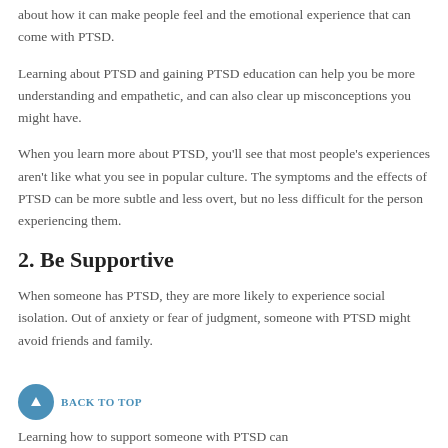about how it can make people feel and the emotional experience that can come with PTSD.
Learning about PTSD and gaining PTSD education can help you be more understanding and empathetic, and can also clear up misconceptions you might have.
When you learn more about PTSD, you'll see that most people's experiences aren't like what you see in popular culture. The symptoms and the effects of PTSD can be more subtle and less overt, but no less difficult for the person experiencing them.
2. Be Supportive
When someone has PTSD, they are more likely to experience social isolation. Out of anxiety or fear of judgment, someone with PTSD might avoid friends and family.
Learning how to support someone with PTSD can